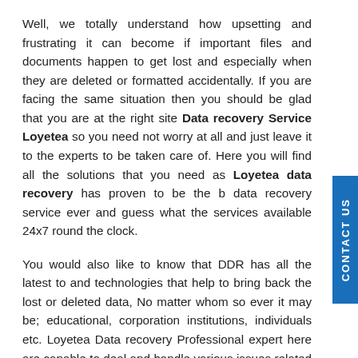Well, we totally understand how upsetting and frustrating it can become if important files and documents happen to get lost and especially when they are deleted or formatted accidentally. If you are facing the same situation then you should be glad that you are at the right site Data recovery Service Loyetea so you need not worry at all and just leave it to the experts to be taken care of. Here you will find all the solutions that you need as Loyetea data recovery has proven to be the b data recovery service ever and guess what the services available 24x7 round the clock.
You would also like to know that DDR has all the latest to and technologies that help to bring back the lost or deleted data, No matter whom so ever it may be; educational, corporation institutions, individuals etc. Loyetea Data recovery Professional expert here are capable to deal and handle various issues related through-out the other cities in Australia. The specialized engineers are always on the go to give the best services they can provide to the customers as your concern is our first priority.